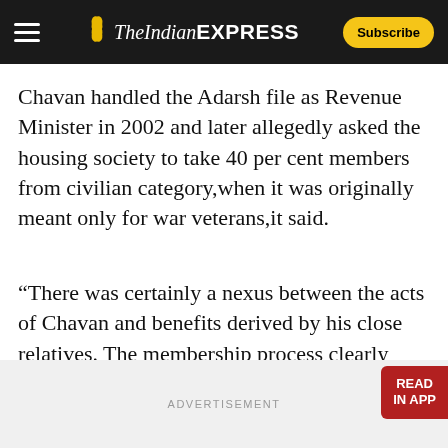The Indian Express — Subscribe
Chavan handled the Adarsh file as Revenue Minister in 2002 and later allegedly asked the housing society to take 40 per cent members from civilian category,when it was originally meant only for war veterans,it said.
“There was certainly a nexus between the acts of Chavan and benefits derived by his close relatives. The membership process clearly indicates that grant of requisite permission by Chavan was by way of quid pro quo,” it said.
ADVERTISEMENT